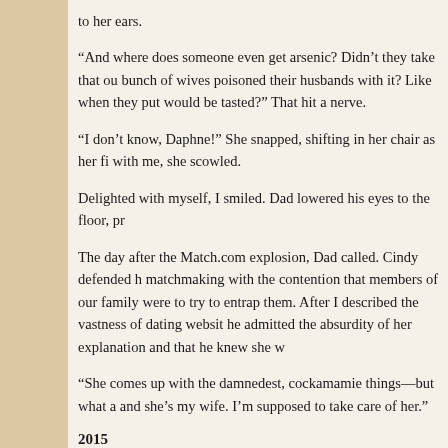to her ears.
“And where does someone even get arsenic? Didn’t they take that ou bunch of wives poisoned their husbands with it? Like when they put would be tasted?” That hit a nerve.
“I don’t know, Daphne!” She snapped, shifting in her chair as her fi with me, she scowled.
Delighted with myself, I smiled. Dad lowered his eyes to the floor, pr
The day after the Match.com explosion, Dad called. Cindy defended h matchmaking with the contention that members of our family were to try to entrap them. After I described the vastness of dating websit he admitted the absurdity of her explanation and that he knew she w
“She comes up with the damnedest, cockamamie things—but what a and she’s my wife. I’m supposed to take care of her.”
2015
The isolation turned sinister when Cindy convinced him to sell the K The poor girl from Spokane, Missouri, was flush with more cash tha house on eighteen acres neighboring her daughter’s secluded prope where family could help” with my father as he declined—without te only learned of the move when I requested a welfare check after he